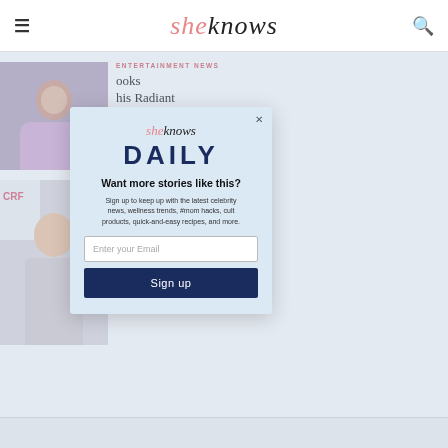sheknows
[Figure (photo): Woman in lavender/purple dress at event, partially obscured by modal]
ENTERTAINMENT NEWS
ooks his Radiant kini Photo
[Figure (photo): Asian woman with straight dark hair at event/charity, CRF logo visible]
NEWS
ing Modern Vibes In This Mesmerizing Leggy Photo
[Figure (screenshot): SheKnows Daily email signup modal popup with logo, DAILY heading, email input and Sign up button]